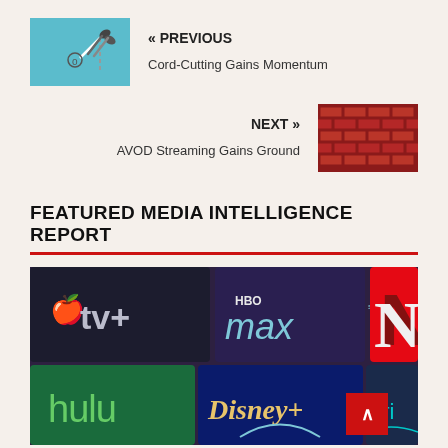[Figure (illustration): Thumbnail image showing scissors cutting a cord, teal/blue background — for 'Cord-Cutting Gains Momentum' previous navigation link]
« PREVIOUS
Cord-Cutting Gains Momentum
NEXT »
AVOD Streaming Gains Ground
[Figure (photo): Thumbnail image showing a red brick/pattern texture — for 'AVOD Streaming Gains Ground' next navigation link]
FEATURED MEDIA INTELLIGENCE REPORT
[Figure (photo): Collage of streaming service logos: Apple TV+, HBO Max, Netflix, Hulu, Disney+, Prime Video — on dark purple/blue background]